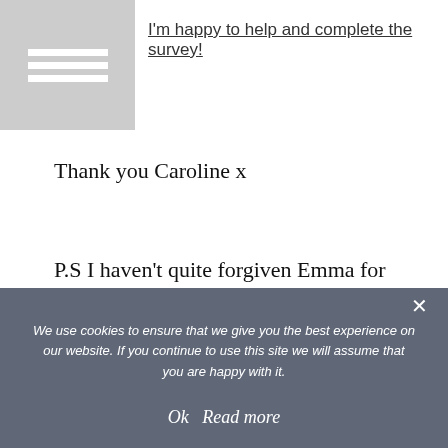[Figure (screenshot): Gray box with white horizontal bars representing a logo/menu icon]
I'm happy to help and complete the survey!
Thank you Caroline x
P.S I haven't quite forgiven Emma for putting up photos of me on her blog!
0 COMMENTS
Add a comment...
We use cookies to ensure that we give you the best experience on our website. If you continue to use this site we will assume that you are happy with it.
Ok   Read more